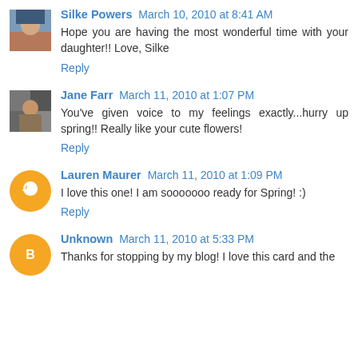Silke Powers March 10, 2010 at 8:41 AM
Hope you are having the most wonderful time with your daughter!! Love, Silke
Reply
Jane Farr March 11, 2010 at 1:07 PM
You've given voice to my feelings exactly...hurry up spring!! Really like your cute flowers!
Reply
Lauren Maurer March 11, 2010 at 1:09 PM
I love this one! I am sooooooo ready for Spring! :)
Reply
Unknown March 11, 2010 at 5:33 PM
Thanks for stopping by my blog! I love this card and the